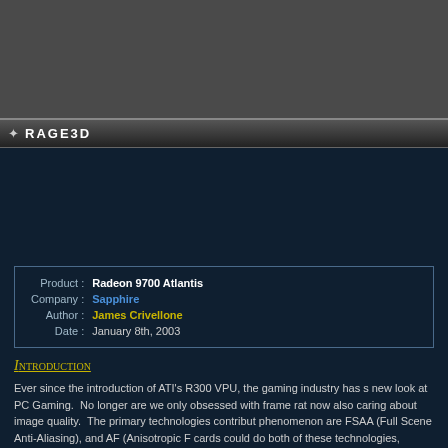RAGE3D
| Product : | Radeon 9700 Atlantis |
| Company : | Sapphire |
| Author : | James Crivellone |
| Date : | January 8th, 2003 |
Introduction
Ever since the introduction of ATI's R300 VPU, the gaming industry has s new look at PC Gaming. No longer are we only obsessed with frame rat now also caring about image quality. The primary technologies contribut phenomenon are FSAA (Full Scene Anti-Aliasing), and AF (Anisotropic F cards could do both of these technologies, however when enabled al